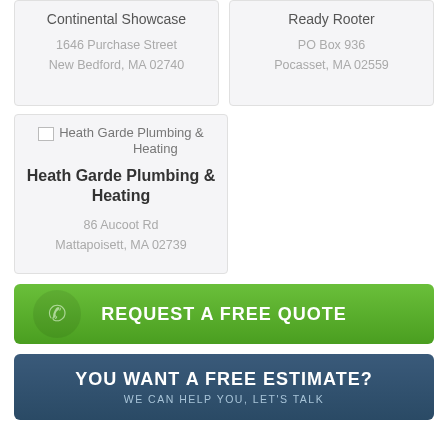Continental Showcase
1646 Purchase Street
New Bedford, MA 02740
Ready Rooter
PO Box 936
Pocasset, MA 02559
[Figure (logo): Heath Garde Plumbing & Heating logo placeholder image]
Heath Garde Plumbing & Heating
86 Aucoot Rd
Mattapoisett, MA 02739
REQUEST A FREE QUOTE
YOU WANT A FREE ESTIMATE?
WE CAN HELP YOU, LET'S TALK